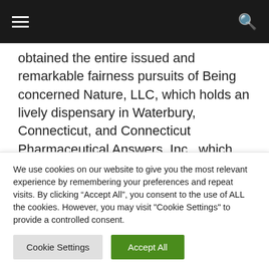Navigation bar with menu and search icons
obtained the entire issued and remarkable fairness pursuits of Being concerned Nature, LLC, which holds an lively dispensary in Waterbury, Connecticut, and Connecticut Pharmaceutical Answers, Inc., which holds an working cultivation and manufacturing facility in Rocky Hill, Connecticut.
The accretive acquisitions confirm Verano's
We use cookies on our website to give you the most relevant experience by remembering your preferences and repeat visits. By clicking “Accept All”, you consent to the use of ALL the cookies. However, you may visit "Cookie Settings" to provide a controlled consent.